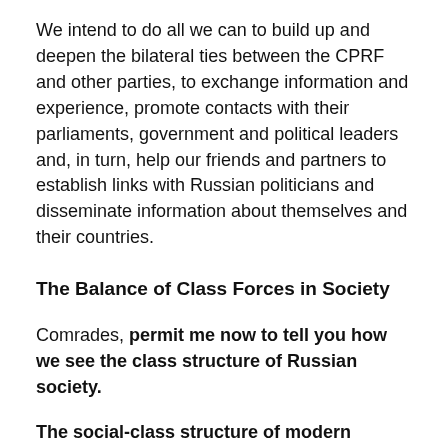We intend to do all we can to build up and deepen the bilateral ties between the CPRF and other parties, to exchange information and experience, promote contacts with their parliaments, government and political leaders and, in turn, help our friends and partners to establish links with Russian politicians and disseminate information about themselves and their countries.
The Balance of Class Forces in Society
Comrades, permit me now to tell you how we see the class structure of Russian society.
The social-class structure of modern Russia is in flux. After the government coups of 1991 and 1993 society has changed dramatically. A new class of exploiters emerged in this country for the first time since 1917. The working class and the peasantry